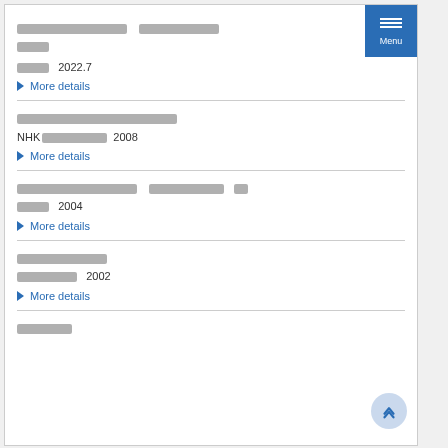[Japanese text] [Japanese text] 2022.7 More details
[Japanese text] NHK[Japanese text] 2008 More details
[Japanese text] [Japanese text] [Japanese text] 2004 More details
[Japanese text] [Japanese text] 2002 More details
[Japanese text]